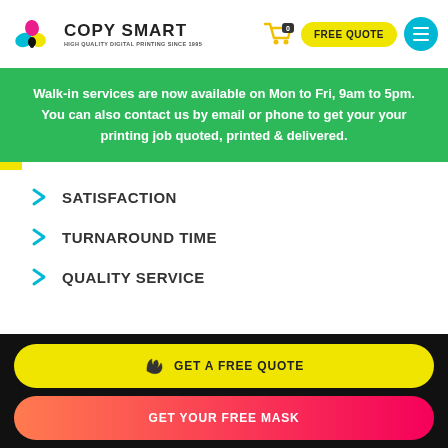[Figure (logo): Copy Smart logo with colorful paint splatter icon and text 'COPY SMART - HIGH QUALITY DIGITAL PRINTING SINCE 1995']
[Figure (infographic): Navigation bar with yellow cart icon (badge 0), yellow 'FREE QUOTE' pill button, and cyan circular menu button]
Walk-in services are now available on Mon to Fri, 9am to 5pm. You can also contact us by email or phone to get your your printing job quoted, printed & delivered.
SATISFACTION
TURNAROUND TIME
QUALITY SERVICE
GET A FREE QUOTE
GET YOUR FREE MASK